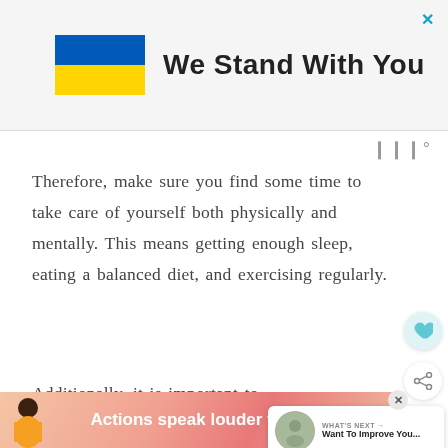[Figure (infographic): Banner advertisement with Ukrainian flag and text 'We Stand With You' with a close (X) button in top right]
Therefore, make sure you find some time to take care of yourself both physically and mentally. This means getting enough sleep, eating a balanced diet, and exercising regularly.
Additionally, it is important to find an outlet for your stress. This could be in the
[Figure (infographic): Bottom advertisement banner with a person illustration and text 'Actions speak louder than words.' on a pink/coral gradient background]